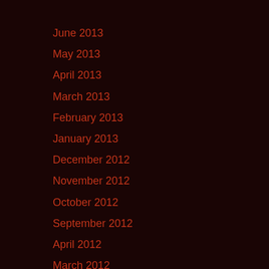June 2013
May 2013
April 2013
March 2013
February 2013
January 2013
December 2012
November 2012
October 2012
September 2012
April 2012
March 2012
February 2012
January 2012